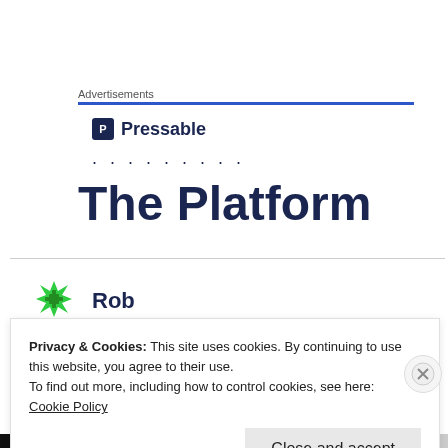Advertisements
[Figure (logo): Pressable logo with icon and text name 'Pressable' and dotted line below]
The Platform
Rob
Privacy & Cookies: This site uses cookies. By continuing to use this website, you agree to their use.
To find out more, including how to control cookies, see here:
Cookie Policy
Close and accept